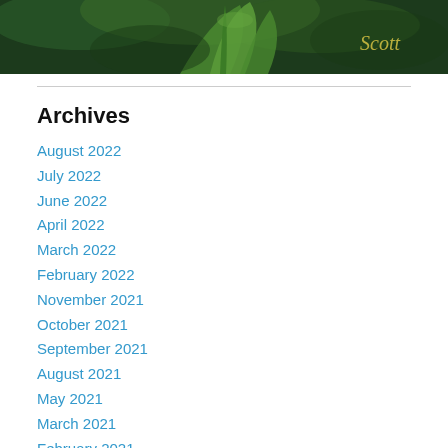[Figure (photo): Green plant leaves close-up photo with a cursive signature 'Scott' in gold/yellow in the top-right corner, dark green background]
Archives
August 2022
July 2022
June 2022
April 2022
March 2022
February 2022
November 2021
October 2021
September 2021
August 2021
May 2021
March 2021
February 2021
November 2020